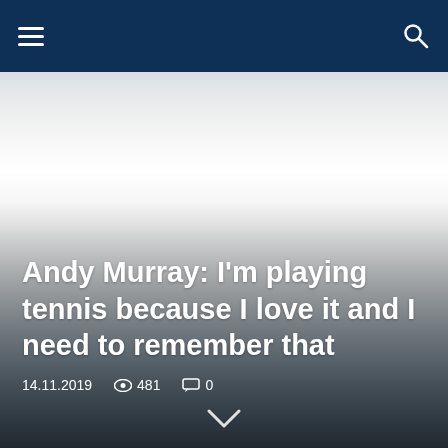Navigation bar with hamburger menu and search icon
[Figure (photo): Hero image with grey gradient background, fading from light grey/white in the center to darker grey-blue at bottom]
Andy Murray: I'm playing tennis because I love it and I need to remember that
14.11.2019   👁 481   💬 0